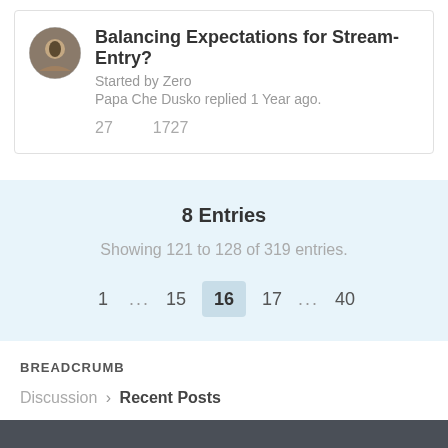Balancing Expectations for Stream-Entry?
Started by Zero
Papa Che Dusko replied 1 Year ago.
27    1727
8 Entries
Showing 121 to 128 of 319 entries.
1 ... 15 16 17 ... 40
BREADCRUMB
Discussion > Recent Posts